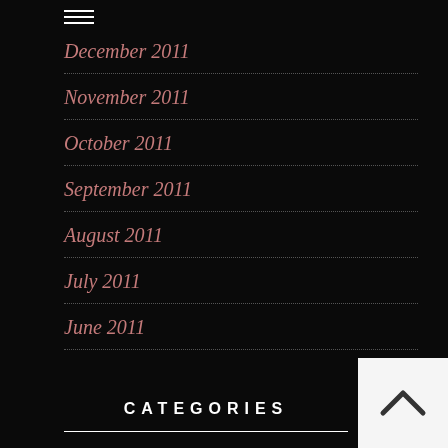December 2011
November 2011
October 2011
September 2011
August 2011
July 2011
June 2011
May 2011
April 2011
CATEGORIES